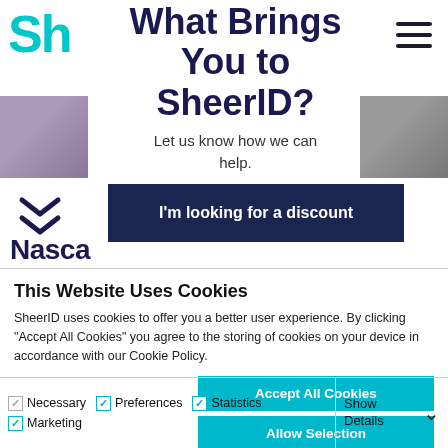[Figure (screenshot): SheerID website header showing logo (Sh) in teal top-left, hamburger menu icon top-right, main heading 'What Brings You to SheerID?' centered, subtext 'Let us know how we can help.', side banner images, double chevron icon, partially visible 'Nasca' text, and a dark navy button 'I'm looking for a discount']
This Website Uses Cookies
SheerID uses cookies to offer you a better user experience. By clicking "Accept All Cookies" you agree to the storing of cookies on your device in accordance with our Cookie Policy.
Accept All Cookies
Allow Selection
Use Necessary Cookies Only
Necessary   Preferences   Statistics   Marketing   Show Details